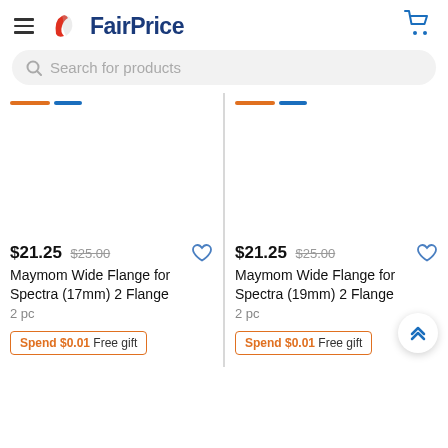FairPrice
Search for products
$21.25 $25.00
Maymom Wide Flange for Spectra (17mm) 2 Flange
2 pc
Spend $0.01 Free gift
$21.25 $25.00
Maymom Wide Flange for Spectra (19mm) 2 Flange
2 pc
Spend $0.01 Free gift